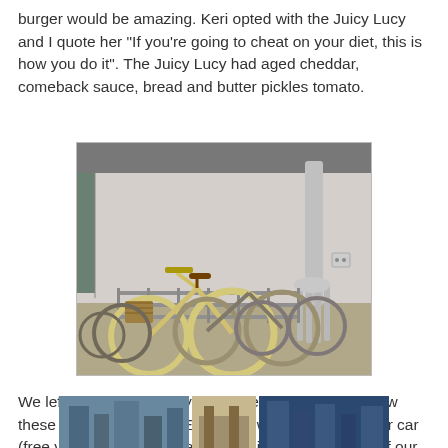burger would be amazing. Keri opted with the Juicy Lucy and I quote her "If you're going to cheat on your diet, this is how you do it". The Juicy Lucy had aged cheddar, comeback sauce, bread and butter pickles tomato.
[Figure (photo): Photograph of bicycles parked in a rack under a covered area, with a large oversized fork sculpture serving as a decorative bike rack on the right side. The setting appears to be outside a building.]
We left Elevage with very happy yet full bellies and saw these adorable bikes at Epicurean while waiting on our car (free valet until 5pm). I had the brilliant idea to work off our brunch by renting bikes and going on the riverwalk, since this day happened to be the one where they dye Tampa's river green. Aside from a little rain, it was a perfect day.
[Figure (photo): Partial bottom photo showing what appears to be a waterfront or outdoor scene, partially cut off at the bottom of the page.]